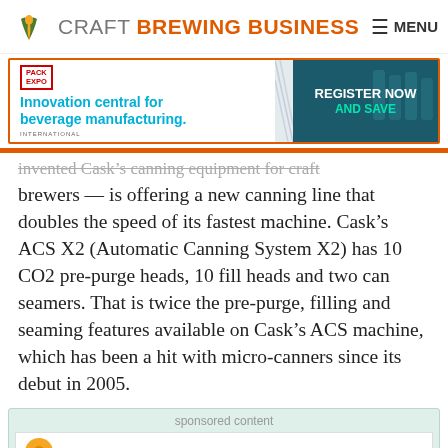CRAFT BREWING BUSINESS  MENU
[Figure (infographic): Pack Expo International advertisement banner: 'Innovation central for beverage manufacturing. REGISTER NOW AND SAVE']
invented Cask's canning equipment for craft brewers — is offering a new canning line that doubles the speed of its fastest machine. Cask's ACS X2 (Automatic Canning System X2) has 10 CO2 pre-purge heads, 10 fill heads and two can seamers. That is twice the pre-purge, filling and seaming features available on Cask's ACS machine, which has been a hit with micro-canners since its debut in 2005.
sponsored content